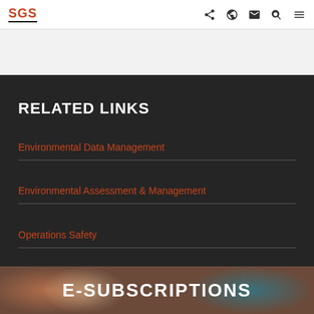SGS
RELATED LINKS
Environmental Data Management
Environmental Assessment & Management
Operations Safety
E-SUBSCRIPTIONS